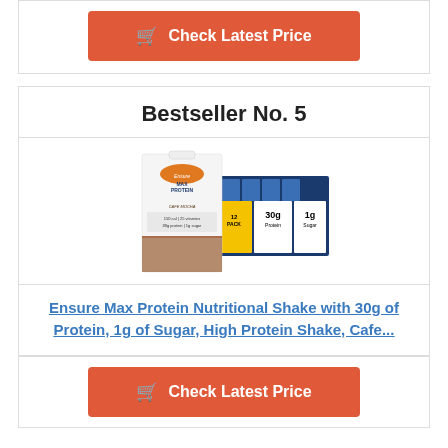[Figure (other): Red 'Check Latest Price' button with shopping cart icon at top of page]
Bestseller No. 5
[Figure (photo): Ensure Max Protein Nutritional Shake 12-pack, Cafe Mocha flavor, showing 30g Protein and 1g Sugar]
Ensure Max Protein Nutritional Shake with 30g of Protein, 1g of Sugar, High Protein Shake, Cafe...
[Figure (other): Red 'Check Latest Price' button with shopping cart icon at bottom of page]